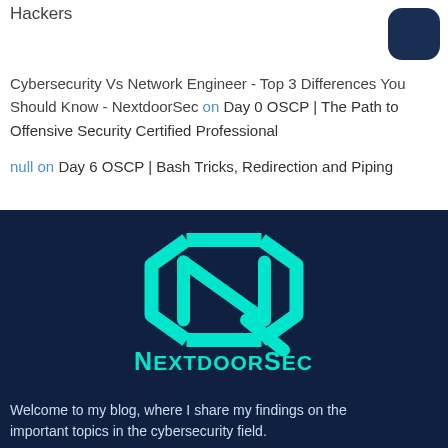Hackers
Cybersecurity Vs Network Engineer - Top 3 Differences You Should Know - NextdoorSec on Day 0 OSCP | The Path to Offensive Security Certified Professional
null on Day 6 OSCP | Bash Tricks, Redirection and Piping
[Figure (logo): NextdoorSec logo: cyan hexagonal arrow icon above text 'NextdoorSec' in cyan on dark navy background]
Welcome to my blog, where I share my findings on the important topics in the cybersecurity field.